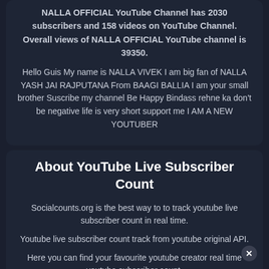NALLA OFFICIAL YouTube Channel has 2030 subscribers and 158 videos on YouTube Channel. Overall views of NALLA OFFICIAL YouTube channel is 39350.
Hello Guis My name is NALLA VIVEK I am big fan of NALLA YASH JAI RAJPUTANA From BAAGI BALLIA I am your small brother Suscribe my channel Be Happy Bindass rehne ka don't be negative life is very short support me I AM A NEW YOUTUBER
About YouTube Live Subscriber Count
Socialcounts.org is the best way to to track youtube live subscriber count in real time.
Youtube live subscriber count track from youtube original API.
Here you can find your favourite youtube creator real time youtube subscriber count.